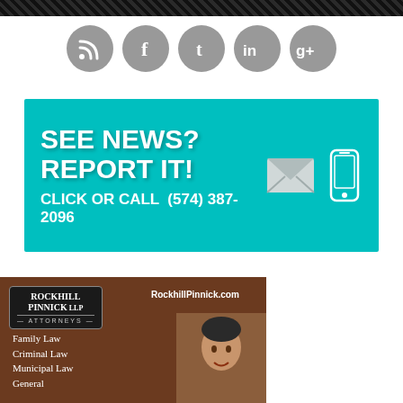[Figure (illustration): Decorative dark patterned header bar with diagonal tile pattern]
[Figure (infographic): Five gray circular social media icons: RSS feed, Facebook (f), Tumblr (t), LinkedIn (in), Google+ (g+)]
[Figure (infographic): Teal banner advertisement: SEE NEWS? REPORT IT! CLICK OR CALL (574) 387-2096 with envelope and smartphone icons]
[Figure (illustration): Rockhill Pinnick LLP Attorneys advertisement with logo, website RockhillPinnick.com, services list (Family Law, Criminal Law, Municipal Law, General) and photo of attorney]